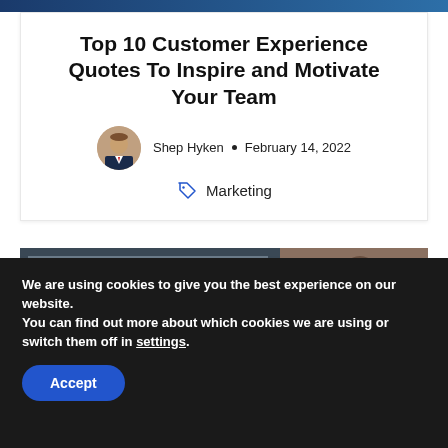Top 10 Customer Experience Quotes To Inspire and Motivate Your Team
Shep Hyken • February 14, 2022
Marketing
[Figure (photo): Person working at a computer screen, side/back view]
We are using cookies to give you the best experience on our website.
You can find out more about which cookies we are using or switch them off in settings.
Accept